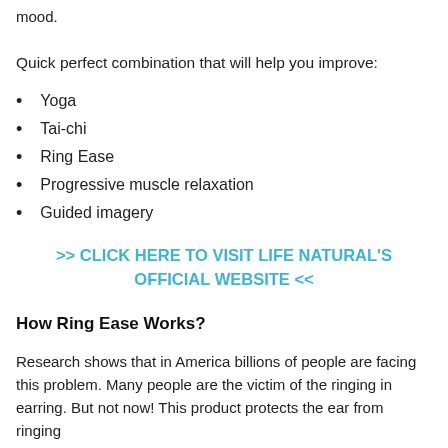mood.
Quick perfect combination that will help you improve:
Yoga
Tai-chi
Ring Ease
Progressive muscle relaxation
Guided imagery
>> CLICK HERE TO VISIT LIFE NATURAL'S OFFICIAL WEBSITE <<
How Ring Ease Works?
Research shows that in America billions of people are facing this problem. Many people are the victim of the ringing in earring. But not now! This product protects the ear from ringing